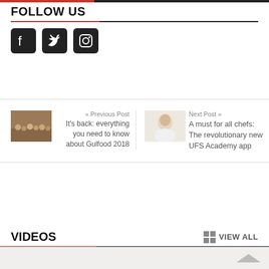FOLLOW US
[Figure (illustration): Social media icons: Facebook, Twitter, Instagram]
[Figure (photo): Previous Post thumbnail - crowd at Gulfood event]
« Previous Post
It's back: everything you need to know about Gulfood 2018
[Figure (photo): Next Post thumbnail - chef in white]
Next Post »
A must for all chefs: The revolutionary new UFS Academy app
VIDEOS
■■ VIEW ALL